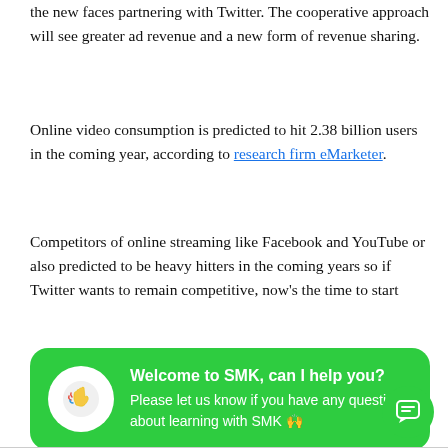the new faces partnering with Twitter. The cooperative approach will see greater ad revenue and a new form of revenue sharing.
Online video consumption is predicted to hit 2.38 billion users in the coming year, according to research firm eMarketer.
Competitors of online streaming like Facebook and YouTube or also predicted to be heavy hitters in the coming years so if Twitter wants to remain competitive, now’s the time to start
[Figure (screenshot): Green chat widget popup with waving hand icon reading 'Welcome to SMK, can I help you?' and subtext 'Please let us know if you have any questions about learning with SMK 🙌']
[Figure (screenshot): Green circular floating action button with chat/message icon in bottom right corner]